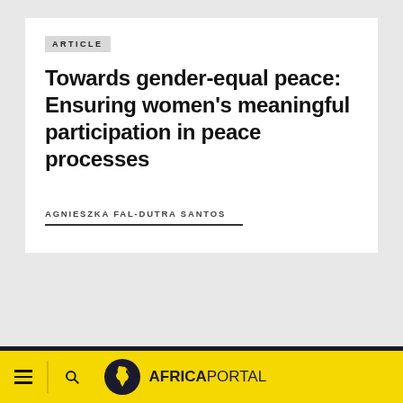ARTICLE
Towards gender-equal peace: Ensuring women's meaningful participation in peace processes
AGNIESZKA FAL-DUTRA SANTOS
[Figure (logo): Africa Portal logo with globe icon showing Africa continent silhouette and text AFRICAPORTAL on yellow navigation bar]